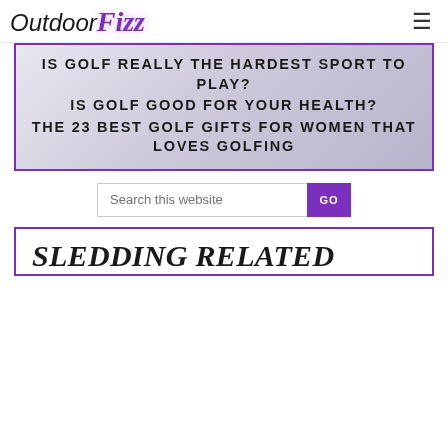OutdoorFizz
IS GOLF REALLY THE HARDEST SPORT TO PLAY?
IS GOLF GOOD FOR YOUR HEALTH?
THE 23 BEST GOLF GIFTS FOR WOMEN THAT LOVES GOLFING
Search this website
SLEDDING RELATED